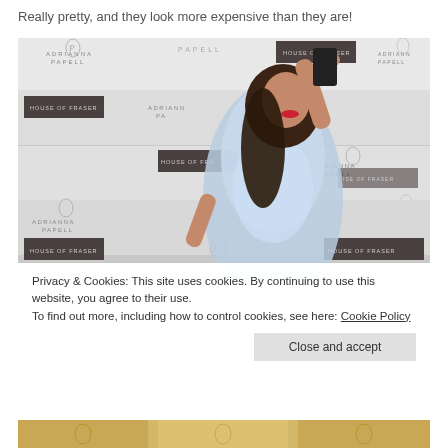Really pretty, and they look more expensive than they are!
[Figure (photo): Woman in a sparkly light blue dress taking a selfie against an Adrianna Papell and House of Fraser branded step-and-repeat banner backdrop]
Privacy & Cookies: This site uses cookies. By continuing to use this website, you agree to their use.
To find out more, including how to control cookies, see here: Cookie Policy
Close and accept